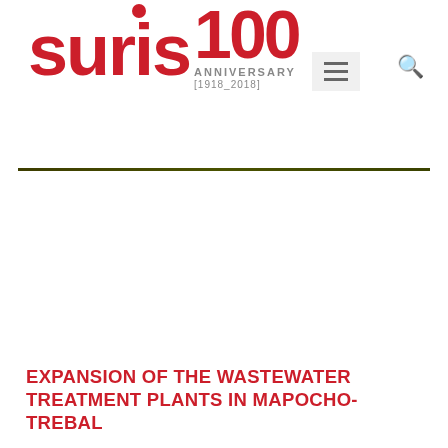suris 100 ANNIVERSARY [1918_2018]
EXPANSION OF THE WASTEWATER TREATMENT PLANTS IN MAPOCHO-TREBAL